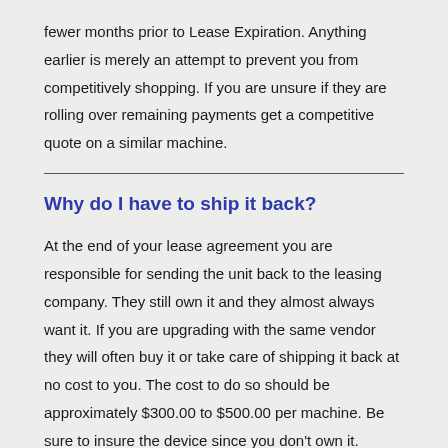fewer months prior to Lease Expiration. Anything earlier is merely an attempt to prevent you from competitively shopping. If you are unsure if they are rolling over remaining payments get a competitive quote on a similar machine.
Why do I have to ship it back?
At the end of your lease agreement you are responsible for sending the unit back to the leasing company. They still own it and they almost always want it. If you are upgrading with the same vendor they will often buy it or take care of shipping it back at no cost to you. The cost to do so should be approximately $300.00 to $500.00 per machine. Be sure to insure the device since you don't own it.